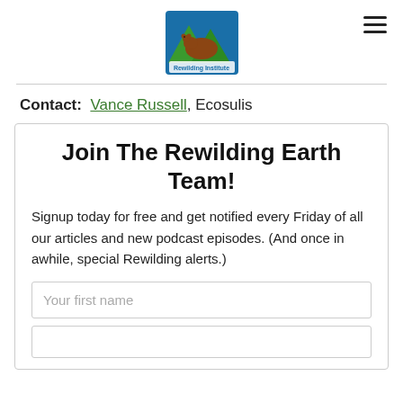[Figure (logo): Rewilding Institute logo with mountain and bear imagery, colorful]
Contact:  Vance Russell, Ecosulis
Join The Rewilding Earth Team!
Signup today for free and get notified every Friday of all our articles and new podcast episodes. (And once in awhile, special Rewilding alerts.)
Your first name